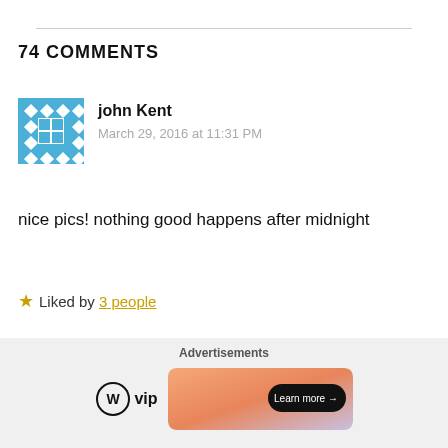74 COMMENTS
john Kent
March 29, 2016 at 11:31 PM
nice pics! nothing good happens after midnight
★ Liked by 3 people
Reply
[Figure (other): Advertisements banner with WordPress VIP logo and a Learn more button on a gradient orange/purple background]
Advertisements